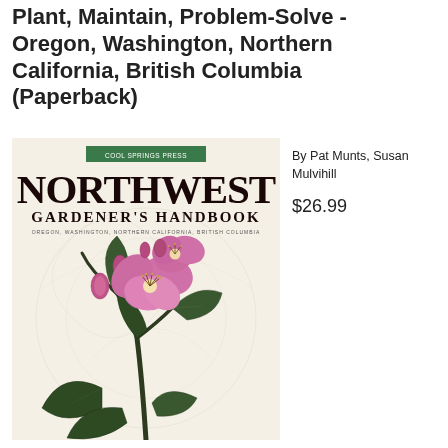Plant, Maintain, Problem-Solve - Oregon, Washington, Northern California, British Columbia (Paperback)
[Figure (illustration): Book cover of Northwest Gardener's Handbook showing large pink rhododendron flowers with green leaves on a cream/ivory background with faint botanical line art watermark. Green publisher banner at top reads 'Cool Springs Press'. Title text 'NORTHWEST GARDENER'S HANDBOOK' in large serif font. Subtitle text 'Oregon, Washington, Northern California, British Columbia'.]
By Pat Munts, Susan Mulvihill
$26.99